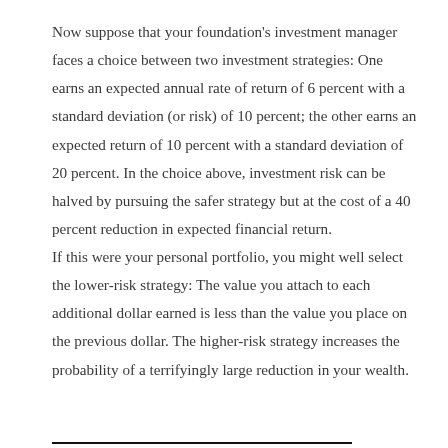Now suppose that your foundation's investment manager faces a choice between two investment strategies: One earns an expected annual rate of return of 6 percent with a standard deviation (or risk) of 10 percent; the other earns an expected return of 10 percent with a standard deviation of 20 percent. In the choice above, investment risk can be halved by pursuing the safer strategy but at the cost of a 40 percent reduction in expected financial return.
If this were your personal portfolio, you might well select the lower-risk strategy: The value you attach to each additional dollar earned is less than the value you place on the previous dollar. The higher-risk strategy increases the probability of a terrifyingly large reduction in your wealth.